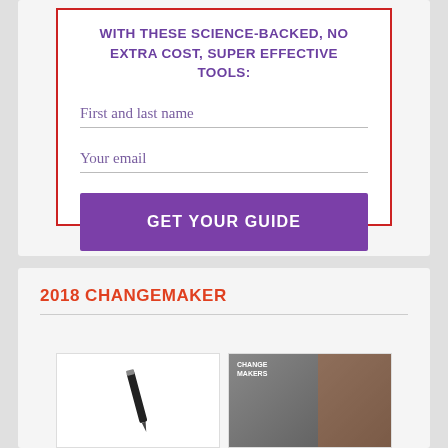WITH THESE SCIENCE-BACKED, NO EXTRA COST, SUPER EFFECTIVE TOOLS:
First and last name
Your email
GET YOUR GUIDE
We promise not to spam you. Unsubscribe at any time.
2018 CHANGEMAKER
[Figure (photo): Two images: left shows a pen/pencil object on white background, right shows a book cover with text CHANGE MAKERS and a person]